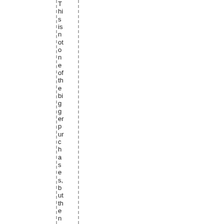This is not one of the bigger purchases, but the next